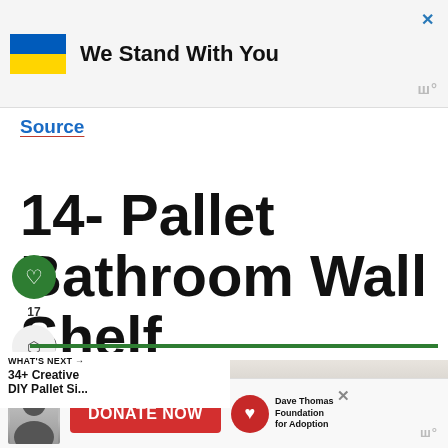[Figure (infographic): Advertisement banner with Ukrainian flag (blue and yellow) and text 'We Stand With You']
Source
14- Pallet Bathroom Wall Shelf
[Figure (infographic): What's Next navigation bar showing '34+ Creative DIY Pallet Si...' with circular thumbnail]
[Figure (photo): Donate Now advertisement banner with Dave Thomas Foundation for Adoption logo and red donate button]